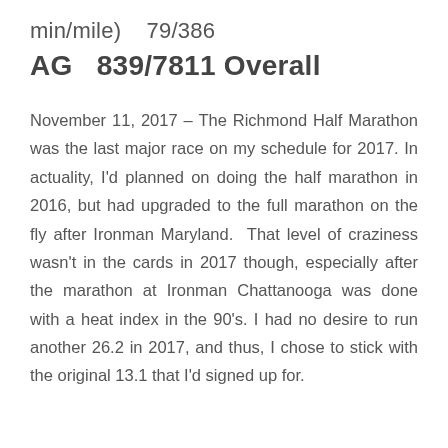min/mile)    79/386
AG    839/7811 Overall
November 11, 2017 – The Richmond Half Marathon was the last major race on my schedule for 2017. In actuality, I'd planned on doing the half marathon in 2016, but had upgraded to the full marathon on the fly after Ironman Maryland. That level of craziness wasn't in the cards in 2017 though, especially after the marathon at Ironman Chattanooga was done with a heat index in the 90's. I had no desire to run another 26.2 in 2017, and thus, I chose to stick with the original 13.1 that I'd signed up for.